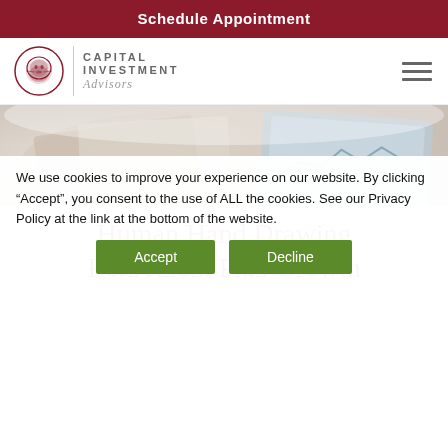Schedule Appointment
[Figure (logo): Capital Investment Advisors logo with lion head icon, vertical divider, company name in uppercase and italic Advisors text, hamburger menu icon on right]
[Figure (photo): Blurred close-up photo of financial documents, charts, and tablet on a desk]
Human Hand Drawing Retirement Plan Growth Concept
We use cookies to improve your experience on our website. By clicking “Accept”, you consent to the use of ALL the cookies. See our Privacy Policy at the link at the bottom of the website.
Accept   Decline